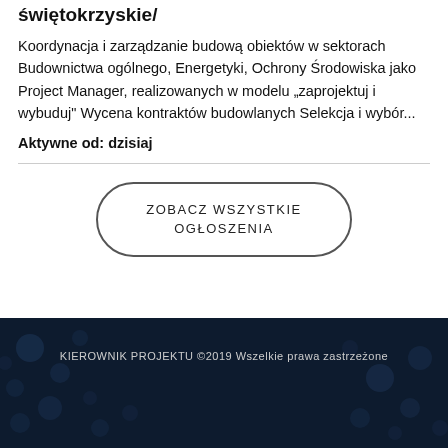świętokrzyskie/
Koordynacja i zarządzanie budową obiektów w sektorach Budownictwa ogólnego, Energetyki, Ochrony Środowiska jako Project Manager, realizowanych w modelu „zaprojektuj i wybuduj" Wycena kontraktów budowlanych Selekcja i wybór...
Aktywne od: dzisiaj
ZOBACZ WSZYSTKIE OGŁOSZENIA
KIEROWNIK PROJEKTU ©2019 Wszelkie prawa zastrzeżone